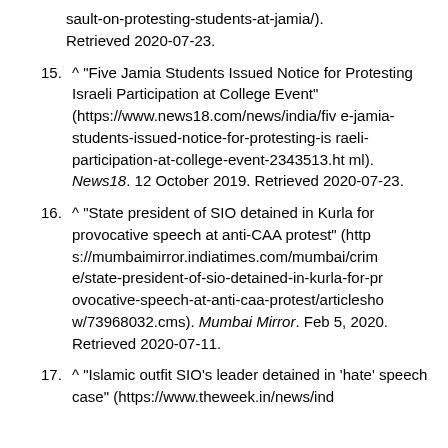(continuation) sault-on-protesting-students-at-jamia/). Retrieved 2020-07-23.
15. ^ "Five Jamia Students Issued Notice for Protesting Israeli Participation at College Event" (https://www.news18.com/news/india/five-jamia-students-issued-notice-for-protesting-israeli-participation-at-college-event-2343513.html). News18. 12 October 2019. Retrieved 2020-07-23.
16. ^ "State president of SIO detained in Kurla for provocative speech at anti-CAA protest" (https://mumbaimirror.indiatimes.com/mumbai/crime/state-president-of-sio-detained-in-kurla-for-provocative-speech-at-anti-caa-protest/articleshow/73968032.cms). Mumbai Mirror. Feb 5, 2020. Retrieved 2020-07-11.
17. ^ "Islamic outfit SIO's leader detained in 'hate' speech case" (https://www.theweek.in/news/india/...